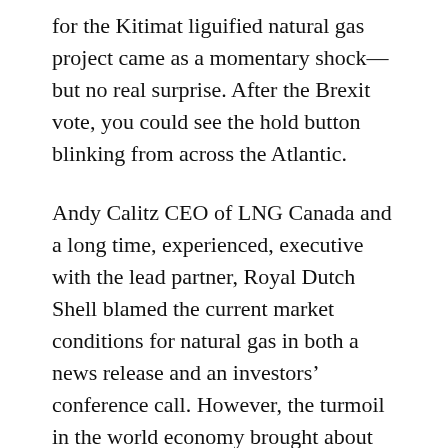for the Kitimat liguified natural gas project came as a momentary shock—but no real surprise. After the Brexit vote, you could see the hold button blinking from across the Atlantic.
Andy Calitz CEO of LNG Canada and a long time, experienced, executive with the lead partner, Royal Dutch Shell blamed the current market conditions for natural gas in both a news release and an investors' conference call. However, the turmoil in the world economy brought about by Britain's (largely unexpected) vote to leave the European Union made the postponement inevitable.